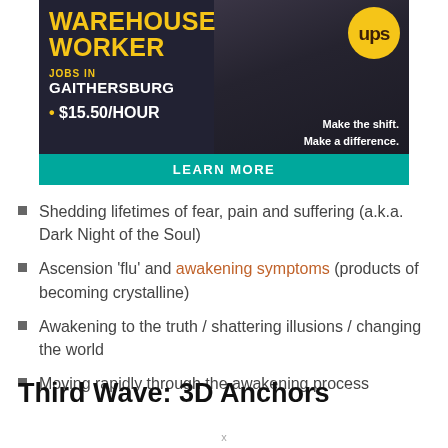[Figure (infographic): UPS Warehouse Worker job advertisement. Shows 'WAREHOUSE WORKER' in yellow bold text, 'JOBS IN GAITHERSBURG', '$15.50/HOUR', UPS logo, tagline 'Make the shift. Make a difference.', teal 'LEARN MORE' button bar. Background shows a worker carrying a package.]
Shedding lifetimes of fear, pain and suffering (a.k.a. Dark Night of the Soul)
Ascension 'flu' and awakening symptoms (products of becoming crystalline)
Awakening to the truth / shattering illusions / changing the world
Moving rapidly through the awakening process
Third Wave: 3D Anchors
x